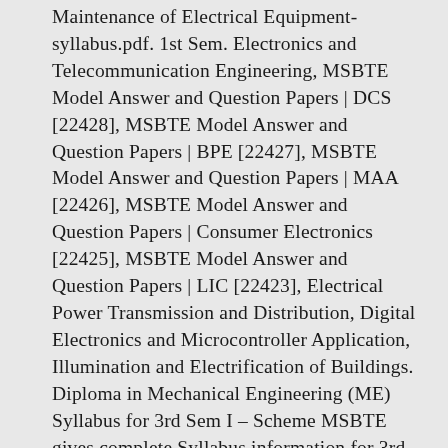Maintenance of Electrical Equipment-syllabus.pdf. 1st Sem. Electronics and Telecommunication Engineering, MSBTE Model Answer and Question Papers | DCS [22428], MSBTE Model Answer and Question Papers | BPE [22427], MSBTE Model Answer and Question Papers | MAA [22426], MSBTE Model Answer and Question Papers | Consumer Electronics [22425], MSBTE Model Answer and Question Papers | LIC [22423], Electrical Power Transmission and Distribution, Digital Electronics and Microcontroller Application, Illumination and Electrification of Buildings. Diploma in Mechanical Engineering (ME) Syllabus for 3rd Sem I – Scheme MSBTE gives complete Syllabus information for 3rd Sem